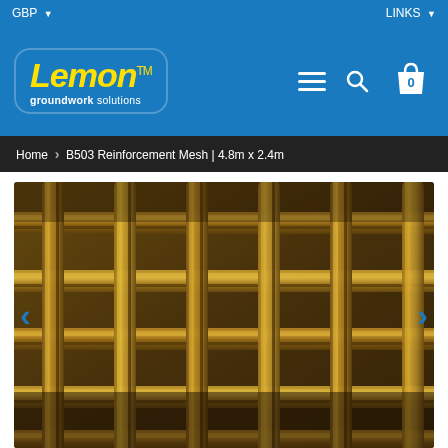GBP  LINKS
[Figure (logo): Lemon Groundwork Solutions logo - yellow italic Lemon text on blue rounded rectangle background]
Home > B503 Reinforcement Mesh | 4.8m x 2.4m
[Figure (photo): Close-up photo of B503 reinforcement mesh / rebar grid showing overlapping steel bars with rust, viewed from above at an angle]